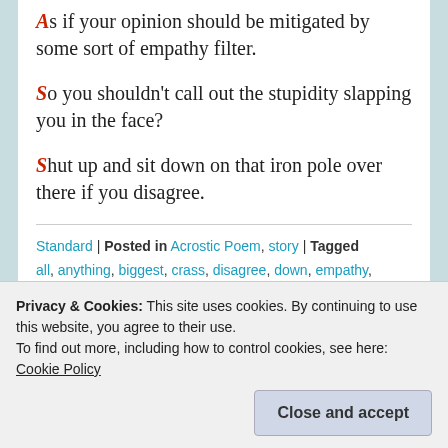As if your opinion should be mitigated by some sort of empathy filter.
So you shouldn't call out the stupidity slapping you in the face?
Shut up and sit down on that iron pole over there if you disagree.
Standard | Posted in Acrostic Poem, story | Tagged all, anything, biggest, crass, disagree, down, empathy, face, fed, filter, iton, lie, life, mitigated, nice, Opinion, over, pole, realize, say, shut, sit, slapping, something, sort, stupidlty, up | 0 comments
Privacy & Cookies: This site uses cookies. By continuing to use this website, you agree to their use. To find out more, including how to control cookies, see here: Cookie Policy